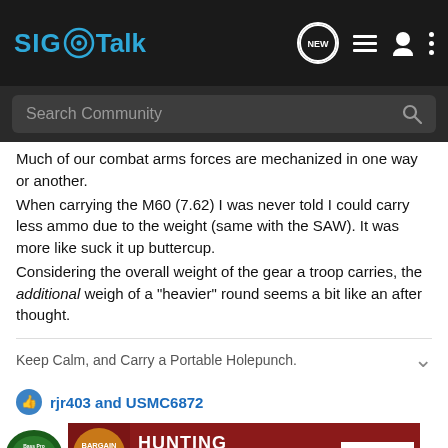SIG Talk
Much of our combat arms forces are mechanized in one way or another.
When carrying the M60 (7.62) I was never told I could carry less ammo due to the weight (same with the SAW). It was more like suck it up buttercup.
Considering the overall weight of the gear a troop carries, the additional weigh of a "heavier" round seems a bit like an after thought.
Keep Calm, and Carry a Portable Holepunch.
rjr403 and USMC6872
[Figure (screenshot): Bass Pro Shops Hunting Bargain Clearance advertisement banner with Shop Now button]